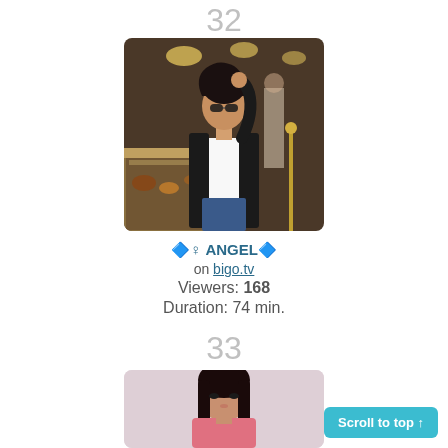32
[Figure (photo): Woman in white top and black jacket posing in a restaurant/cafe setting]
🔷♀ ANGEL🔷
on bigo.tv
Viewers: 168
Duration: 74 min.
33
[Figure (photo): Woman with long dark hair, partial view]
Scroll to top ↑